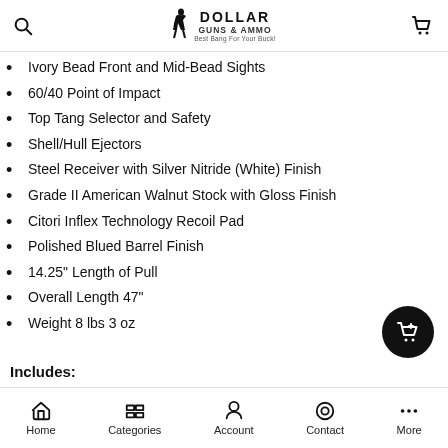Dollar Guns & Ammo
Ivory Bead Front and Mid-Bead Sights
60/40 Point of Impact
Top Tang Selector and Safety
Shell/Hull Ejectors
Steel Receiver with Silver Nitride (White) Finish
Grade II American Walnut Stock with Gloss Finish
Citori Inflex Technology Recoil Pad
Polished Blued Barrel Finish
14.25" Length of Pull
Overall Length 47"
Weight 8 lbs 3 oz
Includes:
Home  Categories  Account  Contact  More